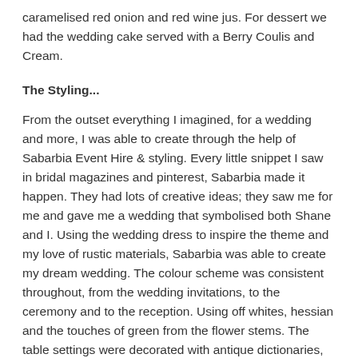caramelised red onion and red wine jus. For dessert we had the wedding cake served with a Berry Coulis and Cream.
The Styling...
From the outset everything I imagined, for a wedding and more, I was able to create through the help of Sabarbia Event Hire & styling. Every little snippet I saw in bridal magazines and pinterest, Sabarbia made it happen. They had lots of creative ideas; they saw me for me and gave me a wedding that symbolised both Shane and I. Using the wedding dress to inspire the theme and my love of rustic materials, Sabarbia was able to create my dream wedding. The colour scheme was consistent throughout, from the wedding invitations, to the ceremony and to the reception. Using off whites, hessian and the touches of green from the flower stems. The table settings were decorated with antique dictionaries, baby's breath, pearl necklaces, tin cans and glass candle holders wrapped in